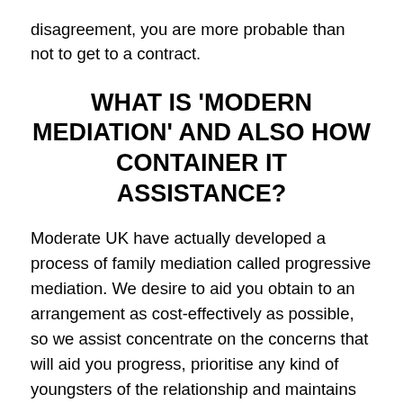disagreement, you are more probable than not to get to a contract.
WHAT IS 'MODERN MEDIATION' AND ALSO HOW CONTAINER IT ASSISTANCE?
Moderate UK have actually developed a process of family mediation called progressive mediation. We desire to aid you obtain to an arrangement as cost-effectively as possible, so we assist concentrate on the concerns that will aid you progress, prioritise any kind of youngsters of the relationship and maintains conversations on what you can do in the future